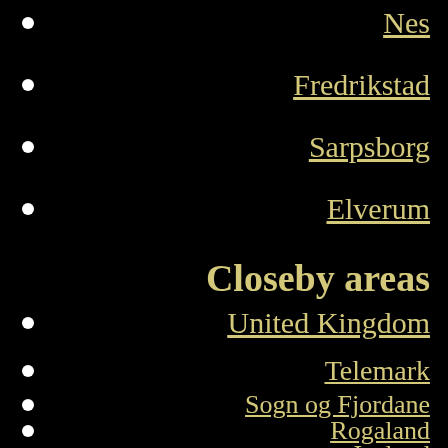Nes
Fredrikstad
Sarpsborg
Elverum
Closeby areas
United Kingdom
Telemark
Sogn og Fjordane
Rogaland
Iceland